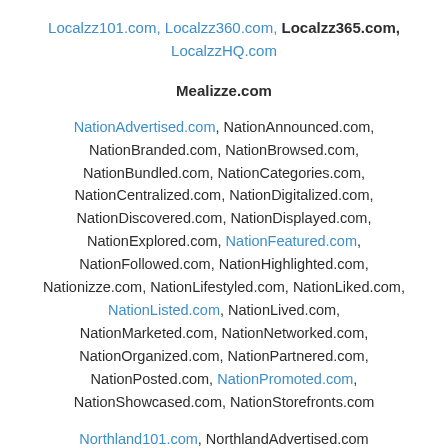Localzz101.com, Localzz360.com, Localzz365.com, LocalzzHQ.com
Mealizze.com
NationAdvertised.com, NationAnnounced.com, NationBranded.com, NationBrowsed.com, NationBundled.com, NationCategories.com, NationCentralized.com, NationDigitalized.com, NationDiscovered.com, NationDisplayed.com, NationExplored.com, NationFeatured.com, NationFollowed.com, NationHighlighted.com, Nationizze.com, NationLifestyled.com, NationLiked.com, NationListed.com, NationLived.com, NationMarketed.com, NationNetworked.com, NationOrganized.com, NationPartnered.com, NationPosted.com, NationPromoted.com, NationShowcased.com, NationStorefronts.com
Northland101.com, NorthlandAdvertised.com